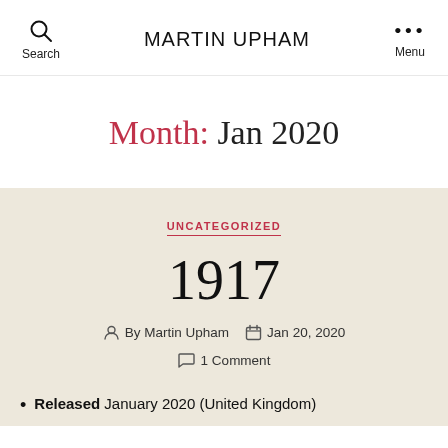MARTIN UPHAM
Month: Jan 2020
UNCATEGORIZED
1917
By Martin Upham   Jan 20, 2020   1 Comment
Released January 2020 (United Kingdom)